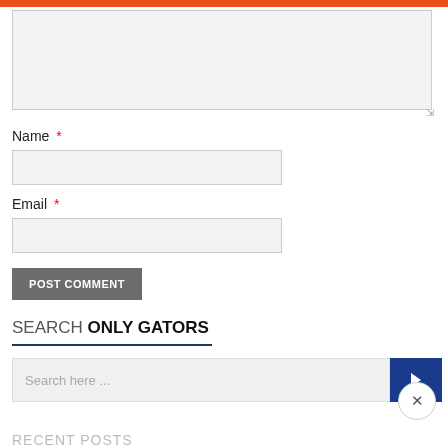[Figure (screenshot): Textarea input field (comment box), partially filled, with resize handle at bottom right]
Name *
[Figure (screenshot): Text input field for Name]
Email *
[Figure (screenshot): Text input field for Email]
POST COMMENT
SEARCH ONLY GATORS
[Figure (screenshot): Search bar with placeholder 'Search here...' and a blue submit button with right arrow icon]
RECENT POSTS